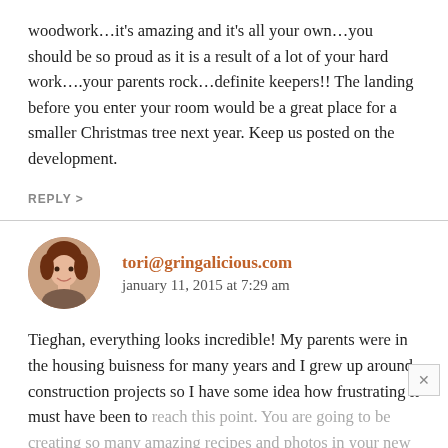woodwork…it's amazing and it's all your own…you should be so proud as it is a result of a lot of your hard work….your parents rock…definite keepers!! The landing before you enter your room would be a great place for a smaller Christmas tree next year. Keep us posted on the development.
REPLY >
[Figure (photo): Circular avatar photo of a young woman with reddish-brown hair, smiling]
tori@gringalicious.com
january 11, 2015 at 7:29 am
Tieghan, everything looks incredible! My parents were in the housing buisness for many years and I grew up around construction projects so I have some idea how frustrating it must have been to reach this point. You are going to be creating so many amazing recipes and photos in your new